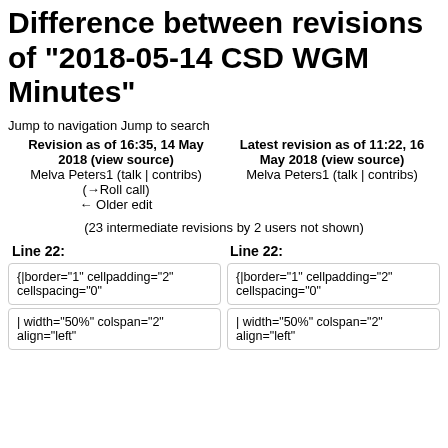Difference between revisions of "2018-05-14 CSD WGM Minutes"
Jump to navigation Jump to search
| Revision as of 16:35, 14 May 2018 (view source) | Latest revision as of 11:22, 16 May 2018 (view source) |
| --- | --- |
| Melva Peters1 (talk | contribs)
(→Roll call)
← Older edit | Melva Peters1 (talk | contribs) |
(23 intermediate revisions by 2 users not shown)
Line 22:
Line 22:
{|border="1" cellpadding="2" cellspacing="0"
{|border="1" cellpadding="2" cellspacing="0"
| width="50%" colspan="2" align="left"
| width="50%" colspan="2" align="left"